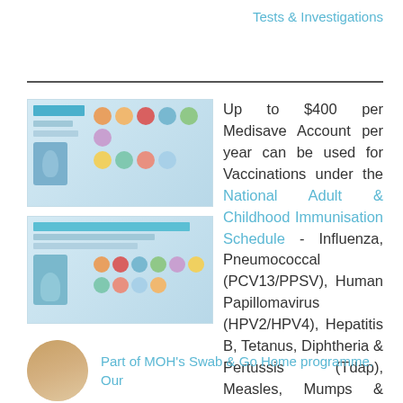Tests & Investigations
[Figure (illustration): Two vaccination schedule brochures/booklets with circular icons depicting various vaccines]
Up to $400 per Medisave Account per year can be used for Vaccinations under the National Adult & Childhood Immunisation Schedule - Influenza, Pneumococcal (PCV13/PPSV), Human Papillomavirus (HPV2/HPV4), Hepatitis B, Tetanus, Diphtheria & Pertussis (Tdap), Measles, Mumps & Rubella (MMR) and Chickenpox (Varicella).
[Figure (illustration): Person figure (doctor/nurse) illustration, part of MOH's Swab & Go Home programme]
Part of MOH's Swab & Go Home programme. Our